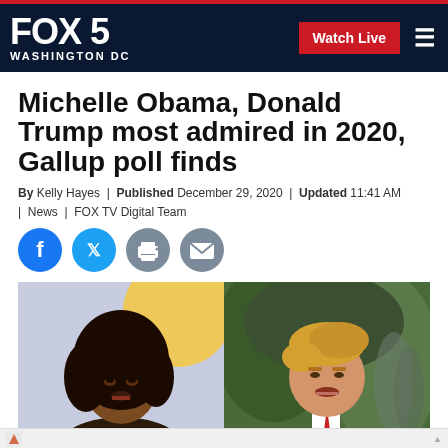FOX 5 WASHINGTON DC
Michelle Obama, Donald Trump most admired in 2020, Gallup poll finds
By Kelly Hayes | Published December 29, 2020 | Updated 11:41 AM | News | FOX TV Digital Team
[Figure (other): Social media sharing icons: Facebook, Twitter, Print, Email]
[Figure (photo): Side-by-side photo of Michelle Obama (left) and Donald Trump (right)]